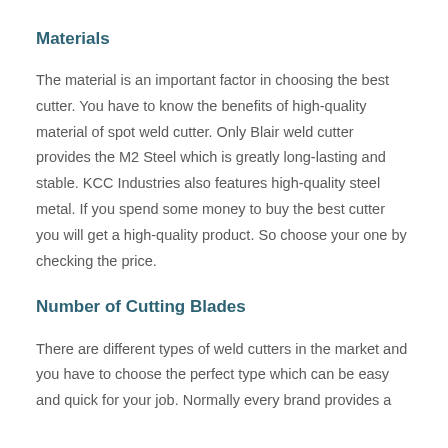Materials
The material is an important factor in choosing the best cutter. You have to know the benefits of high-quality material of spot weld cutter. Only Blair weld cutter provides the M2 Steel which is greatly long-lasting and stable. KCC Industries also features high-quality steel metal. If you spend some money to buy the best cutter you will get a high-quality product. So choose your one by checking the price.
Number of Cutting Blades
There are different types of weld cutters in the market and you have to choose the perfect type which can be easy and quick for your job. Normally every brand provides a